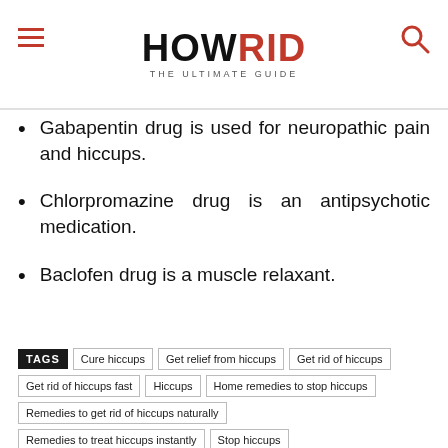HOWRID THE ULTIMATE GUIDE
Gabapentin drug is used for neuropathic pain and hiccups.
Chlorpromazine drug is an antipsychotic medication.
Baclofen drug is a muscle relaxant.
TAGS: Cure hiccups | Get relief from hiccups | Get rid of hiccups | Get rid of hiccups fast | Hiccups | Home remedies to stop hiccups | Remedies to get rid of hiccups naturally | Remedies to treat hiccups instantly | Stop hiccups | Treatment for hiccups